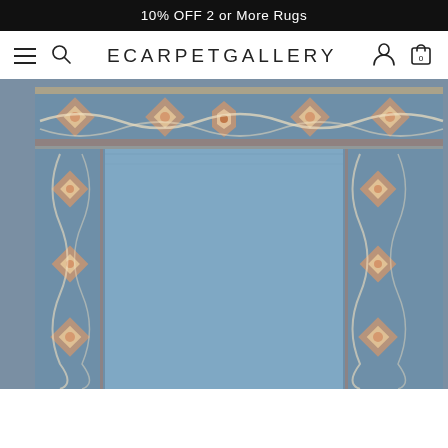10% OFF 2 or More Rugs
[Figure (logo): ECARPETGALLERY website navigation bar with hamburger menu, search icon, logo text, account icon, and cart icon showing 0 items]
[Figure (photo): A grey/blue traditional area rug with ornate border pattern featuring floral and geometric medallion motifs in peach/coral and cream tones on a steel blue field]